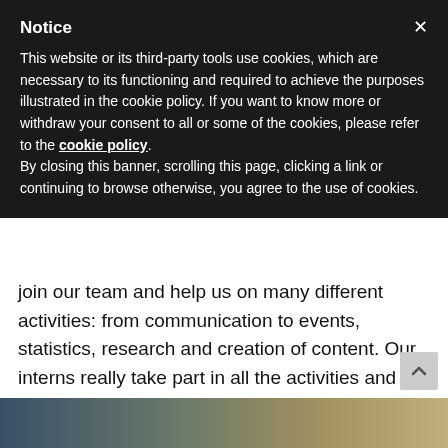Notice
This website or its third-party tools use cookies, which are necessary to its functioning and required to achieve the purposes illustrated in the cookie policy. If you want to know more or withdraw your consent to all or some of the cookies, please refer to the cookie policy.
By closing this banner, scrolling this page, clicking a link or continuing to browse otherwise, you agree to the use of cookies.
join our team and help us on many different activities: from communication to events, statistics, research and creation of content. Our interns really take part in all the activities and are part of our team 100%: if you want to join us send a motivation letter and a CV in English to info@aecm.eu, and do not hesitate to contact us if you have further questions.
[Figure (photo): Bottom image strip showing people, partially visible]